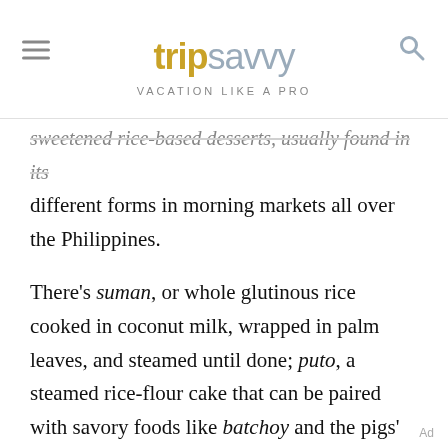tripsavvy VACATION LIKE A PRO
sweetened rice-based desserts, usually found in its different forms in morning markets all over the Philippines.
There’s suman, or whole glutinous rice cooked in coconut milk, wrapped in palm leaves, and steamed until done; puto, a steamed rice-flour cake that can be paired with savory foods like batchoy and the pigs’ blood stew dinuguan; and kutsinta, a rice cake treated with lye to create a bouncy pudding with a brown-yellow color.
Ad